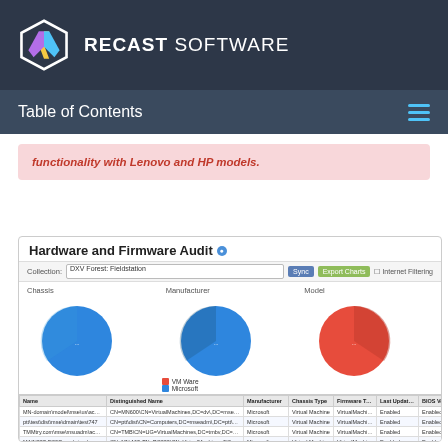RECAST SOFTWARE
Table of Contents
functionality with Lenovo and HP models.
[Figure (screenshot): Hardware and Firmware Audit dashboard showing three pie charts (Chassis, Manufacturer, Model) and a data table listing virtual machines with columns: Name, Distinguished Name, Manufacturer, Chassis Type, Firmware Type, Last Update Status, BIOS Version]
Hardware and Firmware Audit